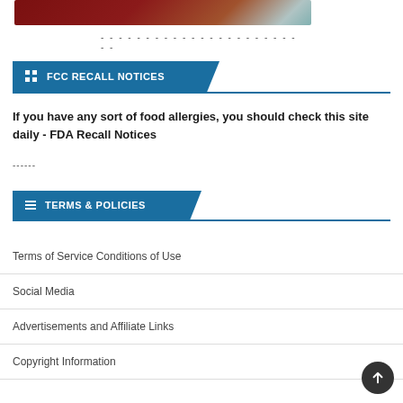[Figure (photo): Partial image strip at top of page showing food-related imagery in dark red/brown tones with a teal/white element on the right side]
------------------------
FCC RECALL NOTICES
If you have any sort of food allergies, you should check this site daily - FDA Recall Notices
------
TERMS & POLICIES
Terms of Service Conditions of Use
Social Media
Advertisements and Affiliate Links
Copyright Information